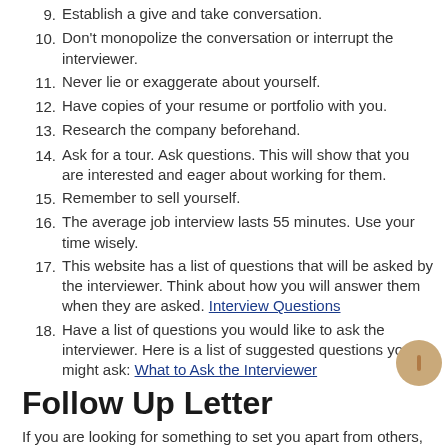9. Establish a give and take conversation.
10. Don't monopolize the conversation or interrupt the interviewer.
11. Never lie or exaggerate about yourself.
12. Have copies of your resume or portfolio with you.
13. Research the company beforehand.
14. Ask for a tour. Ask questions. This will show that you are interested and eager about working for them.
15. Remember to sell yourself.
16. The average job interview lasts 55 minutes. Use your time wisely.
17. This website has a list of questions that will be asked by the interviewer. Think about how you will answer them when they are asked. Interview Questions
18. Have a list of questions you would like to ask the interviewer. Here is a list of suggested questions you might ask: What to Ask the Interviewer
Follow Up Letter
If you are looking for something to set you apart from others, then be sure to send a thank you letter AFTER you